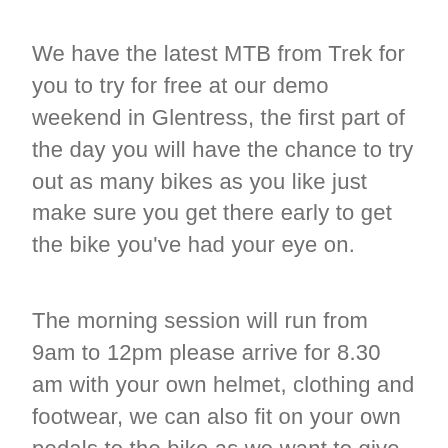We have the latest MTB from Trek for you to try for free at our demo weekend in Glentress, the first part of the day you will have the chance to try out as many bikes as you like just make sure you get there early to get the bike you've had your eye on.
The morning session will run from 9am to 12pm please arrive for 8.30 am with your own helmet, clothing and footwear, we can also fit on your own pedals to the bike as we want to give you the best experience when using the bike. The morning session will consist of a trail marked out